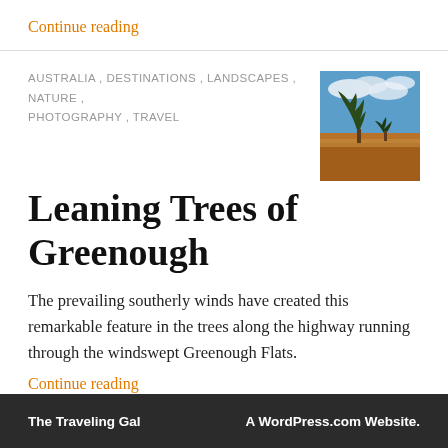Continue reading
AUSTRALIA , DESTINATIONS , LANDSCAPES , NATURE , PHOTOGRAPHY , TRAVEL
[Figure (photo): Thumbnail photo of Australian outback landscape with leaning trees, red earth, and blue sky with clouds.]
Leaning Trees of Greenough
The prevailing southerly winds have created this remarkable feature in the trees along the highway running through the windswept Greenough Flats.
Continue reading
The Traveling Gal    A WordPress.com Website.